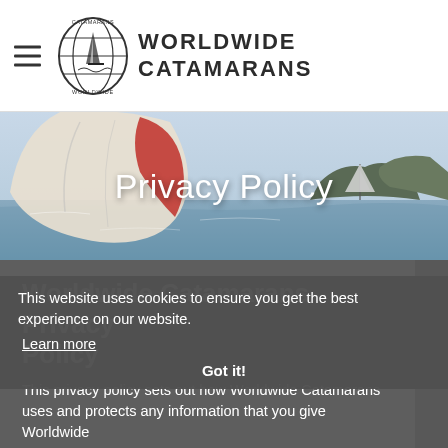WORLDWIDE CATAMARANS
[Figure (photo): Sailing catamaran scene with large colorful spinnaker sail in foreground, sailboat and rocky island in background on blue sea]
Privacy Policy
Worldwide Catamarans Privacy Policy
This website uses cookies to ensure you get the best experience on our website.
Learn more
Got it!
This privacy policy sets out how Worldwide Catamarans uses and protects any information that you give Worldwide